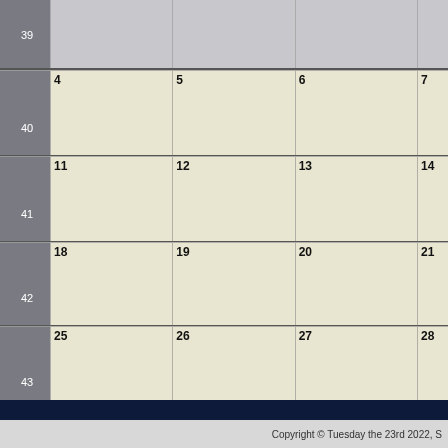[Figure (other): Monthly calendar grid showing weeks 39-43 with day numbers. Week 39 row at top (grayed out/partial), then rows for weeks 40 (days 4-7), 41 (days 11-14), 42 (days 18-21), 43 (days 25-28). Week numbers shown in gray sidebar on left.]
Copyright © Tuesday the 23rd 2022, S…